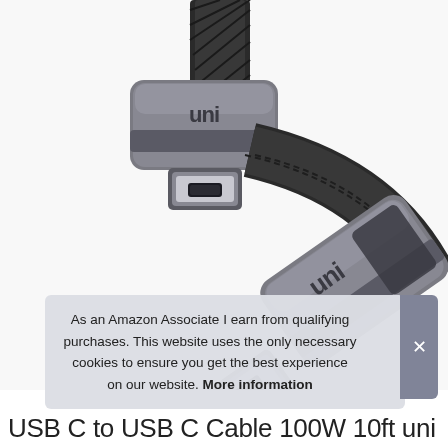[Figure (photo): Product photo showing two USB-C connector ends of a braided cable with gray aluminum 'uni' branded housings, on a white background.]
As an Amazon Associate I earn from qualifying purchases. This website uses the only necessary cookies to ensure you get the best experience on our website. More information
USB C to USB C Cable 100W 10ft uni